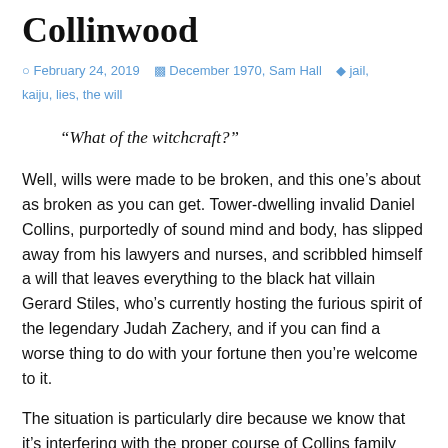Collinwood
February 24, 2019   December 1970, Sam Hall   jail, kaiju, lies, the will
“What of the witchcraft?”
Well, wills were made to be broken, and this one’s about as broken as you can get. Tower-dwelling invalid Daniel Collins, purportedly of sound mind and body, has slipped away from his lawyers and nurses, and scribbled himself a will that leaves everything to the black hat villain Gerard Stiles, who’s currently hosting the furious spirit of the legendary Judah Zachery, and if you can find a worse thing to do with your fortune then you’re welcome to it.
The situation is particularly dire because we know that it’s interfering with the proper course of Collins family history, which runs from Daniel to Gabriel, through some unknown